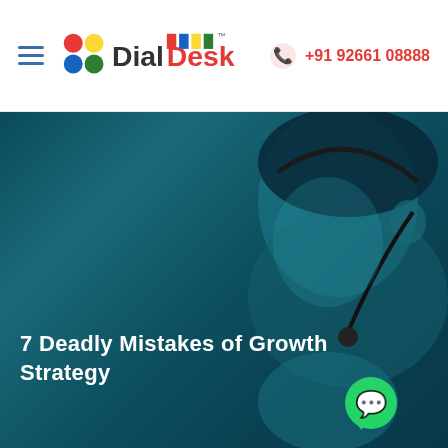DialDesk | +91 92661 08888
[Figure (photo): Hero image of a woman wearing a headset/microphone, smiling, with a deep teal/dark blue color overlay. The background shows an office/call center environment. A WhatsApp icon button appears at the bottom right.]
7 Deadly Mistakes of Growth Strategy